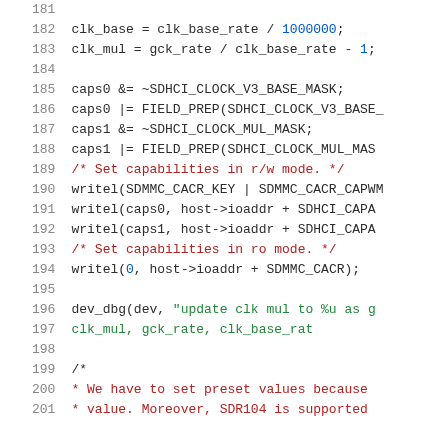Source code listing, lines 181-201, C programming language with syntax highlighting